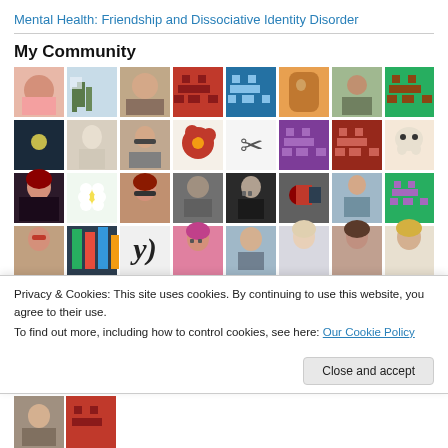Mental Health: Friendship and Dissociative Identity Disorder
My Community
[Figure (photo): Grid of community member profile photos and avatar icons, 8 columns by 4+ rows, showing a variety of profile pictures including people, artworks, pixel art space invader icons, and other avatars.]
Privacy & Cookies: This site uses cookies. By continuing to use this website, you agree to their use.
To find out more, including how to control cookies, see here: Our Cookie Policy
Close and accept